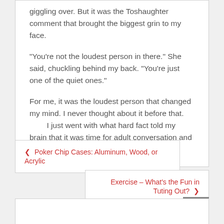giggling over. But it was the Toshaughter comment that brought the biggest grin to my face.
“You’re not the loudest person in there.” She said, chuckling behind my back. “You’re just one of the quiet ones.”
For me, it was the loudest person that changed my mind. I never thought about it before that.
    I just went with what hard fact told my brain that it was time for adult conversation and education.
❮ Poker Chip Cases: Aluminum, Wood, or Acrylic
Exercise – What’s the Fun in Tuting Out? ❯